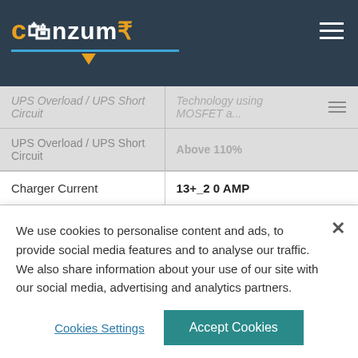Conzumr - navigation bar with logo and hamburger menu
| Feature | Value |
| --- | --- |
| UPS Overload / UPS Short Circuit | Above 110% |
| Charger Current | 13+_2 0 AMP |
| Shot Circuit Protection | >250% load(few msec) |
| Capacity | 850 VA |
| Capacity Battery | 12 V |
We use cookies to personalise content and ads, to provide social media features and to analyse our traffic. We also share information about your use of our site with our social media, advertising and analytics partners.
Cookies Settings
Accept Cookies